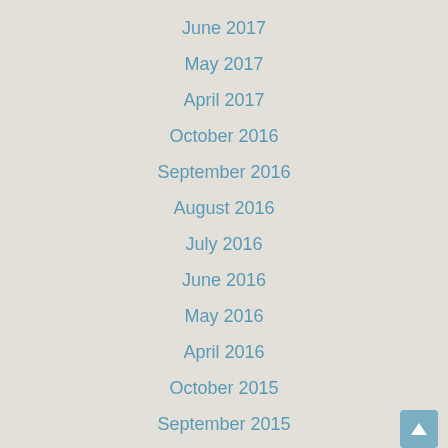June 2017
May 2017
April 2017
October 2016
September 2016
August 2016
July 2016
June 2016
May 2016
April 2016
October 2015
September 2015
July 2015